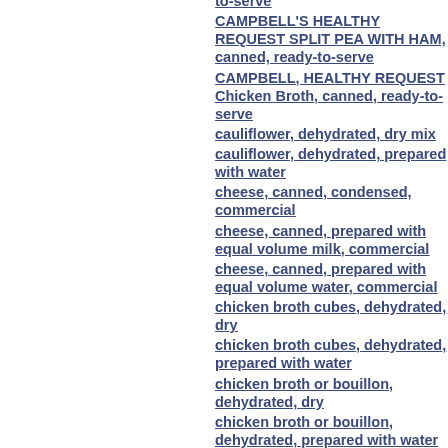to-serve
CAMPBELL'S HEALTHY REQUEST SPLIT PEA WITH HAM, canned, ready-to-serve
CAMPBELL, HEALTHY REQUEST Chicken Broth, canned, ready-to-serve
cauliflower, dehydrated, dry mix
cauliflower, dehydrated, prepared with water
cheese, canned, condensed, commercial
cheese, canned, prepared with equal volume milk, commercial
cheese, canned, prepared with equal volume water, commercial
chicken broth cubes, dehydrated, dry
chicken broth cubes, dehydrated, prepared with water
chicken broth or bouillon, dehydrated, dry
chicken broth or bouillon, dehydrated, prepared with water
chicken broth, canned, condensed, commercial
chicken broth, canned, less/reduced sodium
chicken broth, canned, prepared with